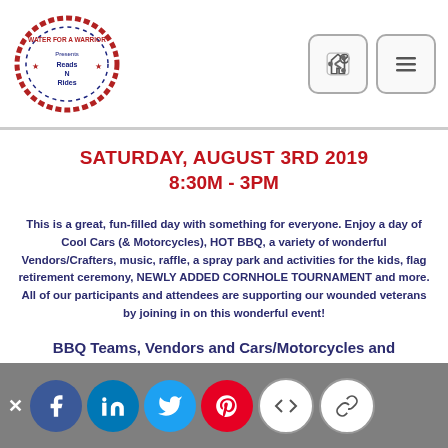Water For A Warrior — Reads N Rides logo with navigation icons
SATURDAY, AUGUST 3RD 2019
8:30M - 3PM
This is a great, fun-filled day with something for everyone. Enjoy a day of Cool Cars (& Motorcycles), HOT BBQ, a variety of wonderful Vendors/Crafters, music, raffle, a spray park and activities for the kids, flag retirement ceremony, NEWLY ADDED CORNHOLE TOURNAMENT and more. All of our participants and attendees are supporting our wounded veterans by joining in on this wonderful event!
BBQ Teams, Vendors and Cars/Motorcycles and Cornhole Teams can register through this site. Admission for spectators is free. Sponsorships
Social share bar: close, Facebook, LinkedIn, Twitter, Pinterest, code, link